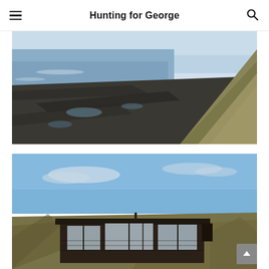Hunting for George
[Figure (photo): Rocky coastal landscape with dark basalt rock formations jutting into the sea, calm ocean water, grassy coastal dunes and cliffs on the right side under an overcast sky]
[Figure (photo): Modern dark timber beach house with large glass windows set among coastal dunes and grasses, under a bright blue sky with light clouds]